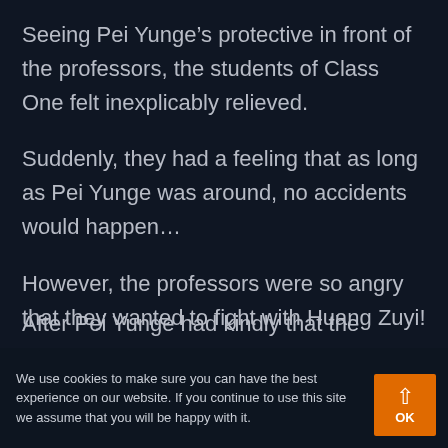Seeing Pei Yunge’s protective in front of the professors, the students of Class One felt inexplicably relieved.
Suddenly, they had a feeling that as long as Pei Yunge was around, no accidents would happen…
However, the professors were so angry that they wanted to fight with Huang Zuyi!
After Pei Yunge had kindly that the accident...
We use cookies to make sure you can have the best experience on our website. If you continue to use this site we assume that you will be happy with it.